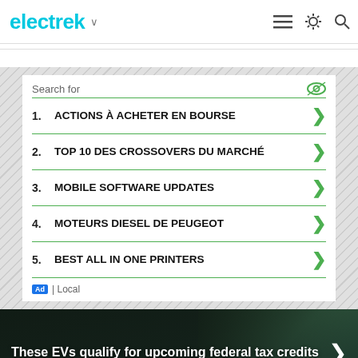electrek
1. ACTIONS À ACHETER EN BOURSE
2. TOP 10 DES CROSSOVERS DU MARCHÉ
3. MOBILE SOFTWARE UPDATES
4. MOTEURS DIESEL DE PEUGEOT
5. BEST ALL IN ONE PRINTERS
Ad | Local
These EVs qualify for upcoming federal tax credits